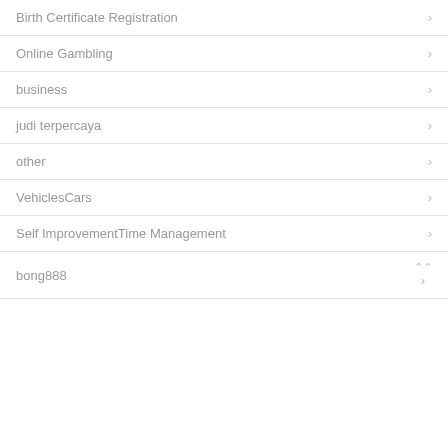Birth Certificate Registration
Online Gambling
business
judi terpercaya
other
VehiclesCars
Self ImprovementTime Management
bong888